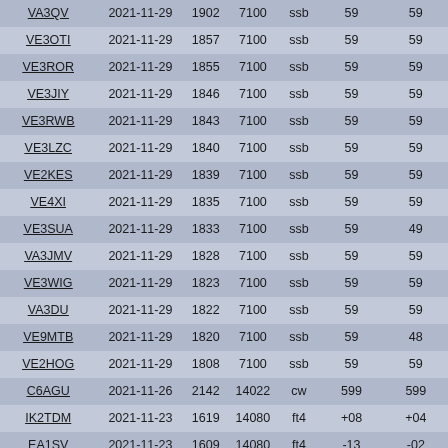| VA3QV | 2021-11-29 | 1902 | 7100 | ssb | 59 | 59 |
| VE3OTI | 2021-11-29 | 1857 | 7100 | ssb | 59 | 59 |
| VE3ROR | 2021-11-29 | 1855 | 7100 | ssb | 59 | 59 |
| VE3JIY | 2021-11-29 | 1846 | 7100 | ssb | 59 | 59 |
| VE3RWB | 2021-11-29 | 1843 | 7100 | ssb | 59 | 59 |
| VE3LZC | 2021-11-29 | 1840 | 7100 | ssb | 59 | 59 |
| VE2KES | 2021-11-29 | 1839 | 7100 | ssb | 59 | 59 |
| VE4XI | 2021-11-29 | 1835 | 7100 | ssb | 59 | 59 |
| VE3SUA | 2021-11-29 | 1833 | 7100 | ssb | 59 | 49 |
| VA3JMV | 2021-11-29 | 1828 | 7100 | ssb | 59 | 59 |
| VE3WIG | 2021-11-29 | 1823 | 7100 | ssb | 59 | 59 |
| VA3DU | 2021-11-29 | 1822 | 7100 | ssb | 59 | 59 |
| VE9MTB | 2021-11-29 | 1820 | 7100 | ssb | 59 | 48 |
| VE2HOG | 2021-11-29 | 1808 | 7100 | ssb | 59 | 59 |
| C6AGU | 2021-11-26 | 2142 | 14022 | cw | 599 | 599 |
| IK2TDM | 2021-11-23 | 1619 | 14080 | ft4 | +08 | +04 |
| EA1SV | 2021-11-23 | 1609 | 14080 | ft4 | -13 | -02 |
| OP4K | 2021-11-23 | 1550 | 18100 | ft8 | +17 | -06 |
| ZS4JAN | 2021-11-23 | 1540 | 24915 | ft8 | -04 | -09 |